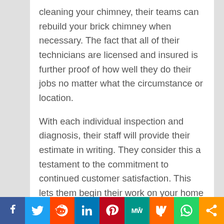cleaning your chimney, their teams can rebuild your brick chimney when necessary. The fact that all of their technicians are licensed and insured is further proof of how well they do their jobs no matter what the circumstance or location.
With each individual inspection and diagnosis, their staff will provide their estimate in writing. They consider this a testament to the commitment to continued customer satisfaction. This lets them begin their work on your home heating and vent systems in complete agreement with each property owner. It also lets each homeowner understand how essential their repair services are in keeping their homes at their most
[Figure (infographic): Social media sharing bar at the bottom with buttons for Facebook, Twitter, Reddit, LinkedIn, Pinterest, MeWe, Mix, WhatsApp, and a share icon.]